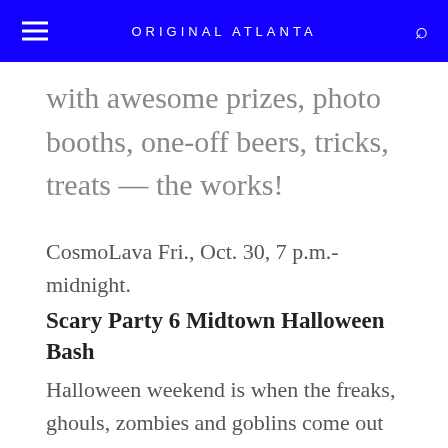ORIGINAL ATLANTA
with awesome prizes, photo booths, one-off beers, tricks, treats — the works!
CosmoLava Fri., Oct. 30, 7 p.m.-midnight.
Scary Party 6 Midtown Halloween Bash
Halloween weekend is when the freaks, ghouls, zombies and goblins come out to scare you at parties. Join the fun on one of ATL's biggest night out in Midtown's Crescent Avenue bar district. Last year,